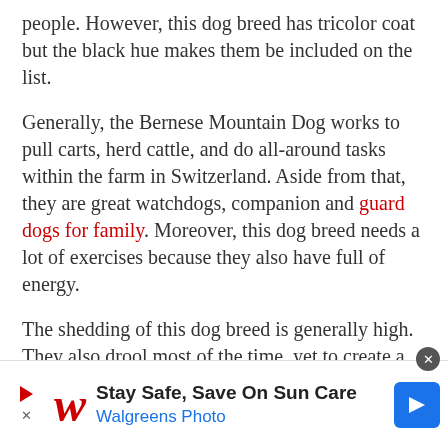people. However, this dog breed has tricolor coat but the black hue makes them be included on the list.
Generally, the Bernese Mountain Dog works to pull carts, herd cattle, and do all-around tasks within the farm in Switzerland. Aside from that, they are great watchdogs, companion and guard dogs for family. Moreover, this dog breed needs a lot of exercises because they also have full of energy.
The shedding of this dog breed is generally high. They also drool most of the time, yet to create a friendly Bernese Mountain Dog, you should socialize and train them properly. However, the drawback that you will notice to this dog breed is
[Figure (infographic): Walgreens advertisement banner: Stay Safe, Save On Sun Care - Walgreens Photo]